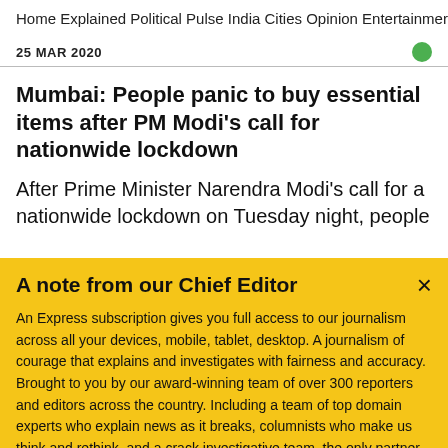Home  Explained  Political Pulse  India  Cities  Opinion  Entertainment
25 MAR 2020
Mumbai: People panic to buy essential items after PM Modi's call for nationwide lockdown
After Prime Minister Narendra Modi's call for a nationwide lockdown on Tuesday night, people
A note from our Chief Editor
An Express subscription gives you full access to our journalism across all your devices, mobile, tablet, desktop. A journalism of courage that explains and investigates with fairness and accuracy. Brought to you by our award-winning team of over 300 reporters and editors across the country. Including a team of top domain experts who explain news as it breaks, columnists who make us think and rethink, and a crack investigative team, the only partner in India of the International Consortium of Investigative Journalists. Journalism
Buy Now →